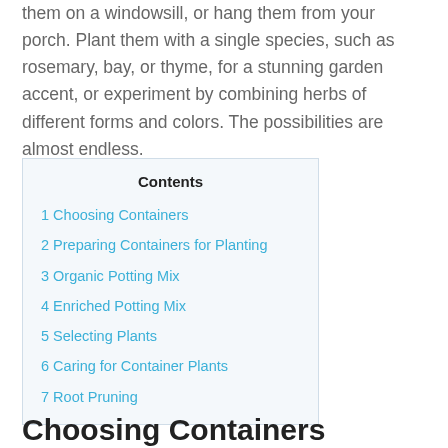them on a windowsill, or hang them from your porch. Plant them with a single species, such as rosemary, bay, or thyme, for a stunning garden accent, or experiment by combining herbs of different forms and colors. The possibilities are almost endless.
| Contents |
| --- |
| 1 Choosing Containers |
| 2 Preparing Containers for Planting |
| 3 Organic Potting Mix |
| 4 Enriched Potting Mix |
| 5 Selecting Plants |
| 6 Caring for Container Plants |
| 7 Root Pruning |
Choosing Containers